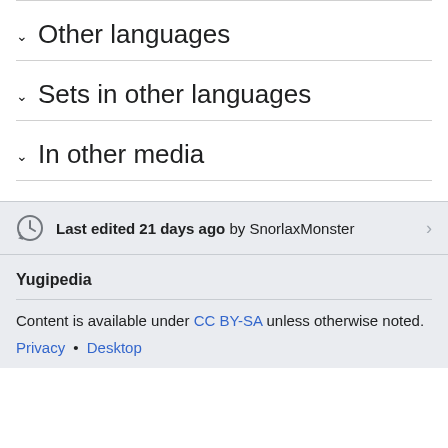Other languages
Sets in other languages
In other media
Last edited 21 days ago by SnorlaxMonster
Yugipedia
Content is available under CC BY-SA unless otherwise noted.
Privacy • Desktop